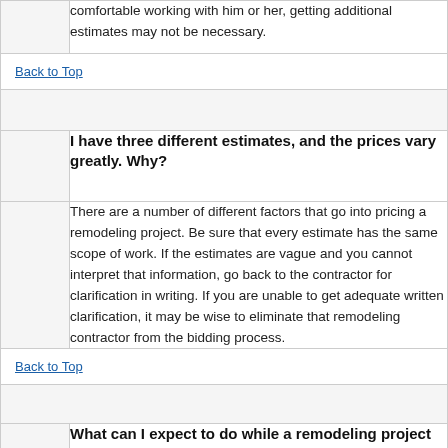comfortable working with him or her, getting additional estimates may not be necessary.
Back to Top
I have three different estimates, and the prices vary greatly. Why?
There are a number of different factors that go into pricing a remodeling project. Be sure that every estimate has the same scope of work. If the estimates are vague and you cannot interpret that information, go back to the contractor for clarification in writing. If you are unable to get adequate written clarification, it may be wise to eliminate that remodeling contractor from the bidding process.
Back to Top
What can I expect to do while a remodeling project is being done in my home?